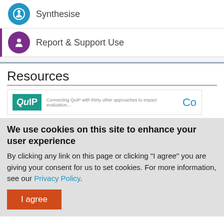[Figure (screenshot): Navigation item with blue circle icon and label 'Synthesise']
[Figure (screenshot): Navigation item with purple circle icon and label 'Report & Support Use', with purple left border]
Resources
[Figure (screenshot): Resource card showing QuIP logo in teal and partially visible 'Co' link in blue, with small description text below logo]
We use cookies on this site to enhance your user experience
By clicking any link on this page or clicking "I agree" you are giving your consent for us to set cookies. For more information, see our Privacy Policy.
I agree